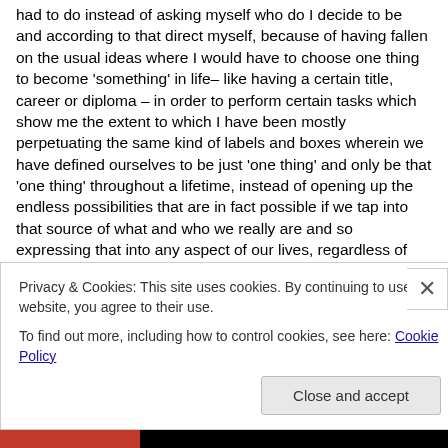had to do instead of asking myself who do I decide to be and according to that direct myself, because of having fallen on the usual ideas where I would have to choose one thing to become 'something' in life– like having a certain title, career or diploma – in order to perform certain tasks which show me the extent to which I have been mostly perpetuating the same kind of labels and boxes wherein we have defined ourselves to be just 'one thing' and only be that 'one thing' throughout a lifetime, instead of opening up the endless possibilities that are in fact possible if we tap into that source of what and who we really are and so expressing that into any aspect of our lives, regardless of 'what we do.'
I forgive myself that I have accepted and allowed myself to split myself between the idea of supporting others and making that my living purpose and my own natural tendency an d interest on artists and artistic creations as a
Privacy & Cookies: This site uses cookies. By continuing to use this website, you agree to their use.
To find out more, including how to control cookies, see here: Cookie Policy